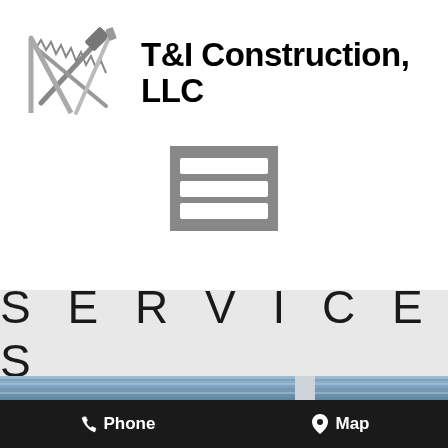[Figure (logo): T&I Construction LLC logo with crossed tools (hammer, saw, and square) in grayscale]
T&I Construction, LLC
[Figure (other): Hamburger menu icon (three horizontal bars on gray square background)]
SERVICES
[Figure (photo): Close-up photo of blue/gray horizontal vinyl siding with white downspout or corner trim]
Phone   Map